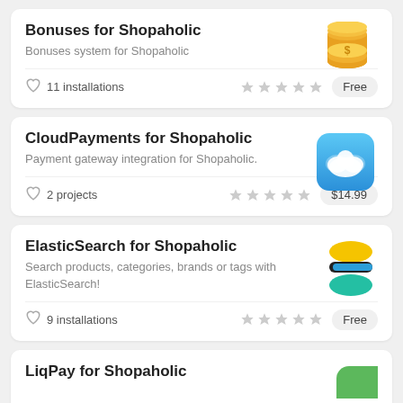Bonuses for Shopaholic
Bonuses system for Shopaholic
11 installations
Free
CloudPayments for Shopaholic
Payment gateway integration for Shopaholic.
2 projects
$14.99
ElasticSearch for Shopaholic
Search products, categories, brands or tags with ElasticSearch!
9 installations
Free
LiqPay for Shopaholic